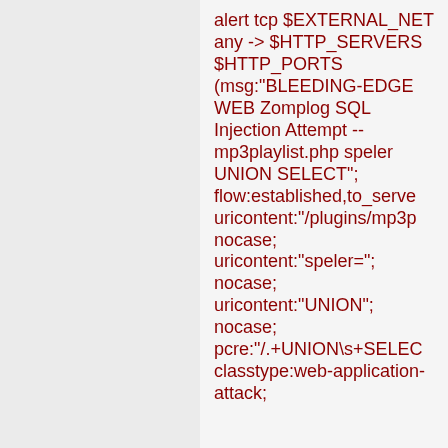alert tcp $EXTERNAL_NET any -> $HTTP_SERVERS $HTTP_PORTS (msg:"BLEEDING-EDGE WEB Zomplog SQL Injection Attempt -- mp3playlist.php speler UNION SELECT"; flow:established,to_server; uricontent:"/plugins/mp3p nocase; uricontent:"speler="; nocase; uricontent:"UNION"; nocase; pcre:"/.+UNION\s+SELEC classtype:web-application-attack;